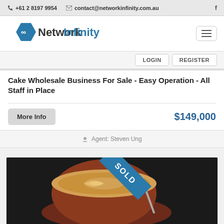+61 2 8197 9954   contact@networkinfinity.com.au
[Figure (logo): Network Infinity hexagon logo with infinity symbol and brand name]
Cake Wholesale Business For Sale - Easy Operation - All Staff in Place
$149,000
Agent: Steven Ung
[Figure (photo): Coffee latte art in a red cup on a saucer with a SOLD ribbon overlay]